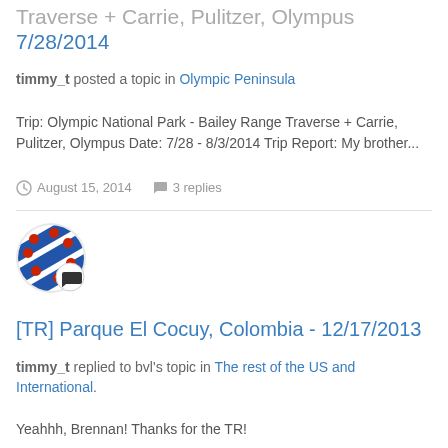Traverse + Carrie, Pulitzer, Olympus 7/28/2014
timmy_t posted a topic in Olympic Peninsula
Trip: Olympic National Park - Bailey Range Traverse + Carrie, Pulitzer, Olympus Date: 7/28 - 8/3/2014 Trip Report: My brother...
August 15, 2014   3 replies
[Figure (illustration): Avatar icon with blue diagonal stripes and red dots, with a speech bubble badge]
[TR] Parque El Cocuy, Colombia - 12/17/2013
timmy_t replied to bvl's topic in The rest of the US and International.
Yeahhh, Brennan! Thanks for the TR!
March 1, 2014   7 replies
[Figure (illustration): Avatar icon with blue diagonal stripes and red dots, with a speech bubble badge]
[TR] Left Kindle at Boston Basin Upper Camp